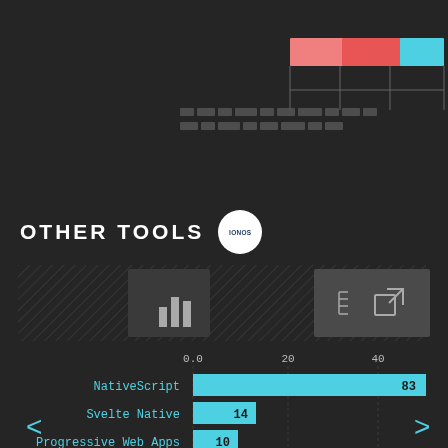[Figure (other): Top portion showing legend bars (pink/red/cyan) with connecting lines and pixel/hash text blocks - partial view of upper chart]
OTHER TOOLS
[Figure (infographic): IONOS badge/logo circular white badge]
[Figure (other): Tab bar with three icon tabs: bar chart icon, grid/table icon, external link icon on hatched dark background]
[Figure (bar-chart): Other Tools]